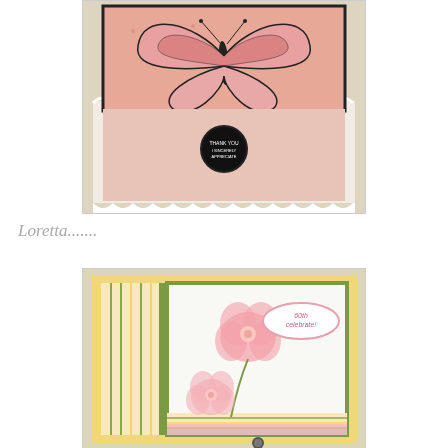[Figure (photo): A handmade greeting card with a large decorative butterfly on a pink textured background, with scalloped white edges and a circular embellishment at the bottom center with text on it. The card has a layered step-fold design.]
Loretta.......
[Figure (photo): A handmade greeting card with pink flower stamps on a white background, layered on green and yellow card stock with striped patterned paper. An oval badge reads 'celebrate!' in the upper right area.]